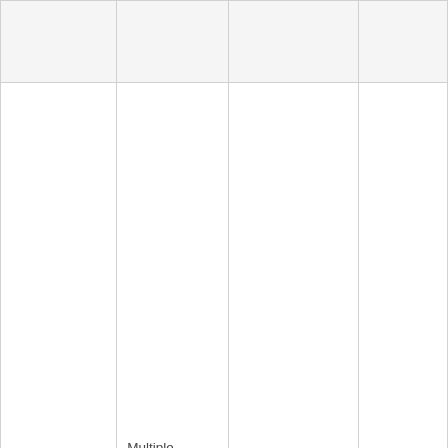|  |  |  |  |
|  | Multiple Choice | select | String |